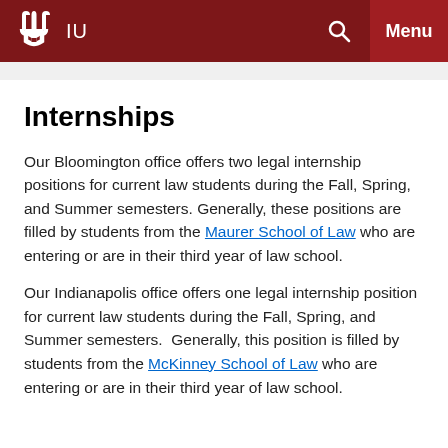IU | Menu
Internships
Our Bloomington office offers two legal internship positions for current law students during the Fall, Spring, and Summer semesters. Generally, these positions are filled by students from the Maurer School of Law who are entering or are in their third year of law school.
Our Indianapolis office offers one legal internship position for current law students during the Fall, Spring, and Summer semesters.  Generally, this position is filled by students from the McKinney School of Law who are entering or are in their third year of law school.